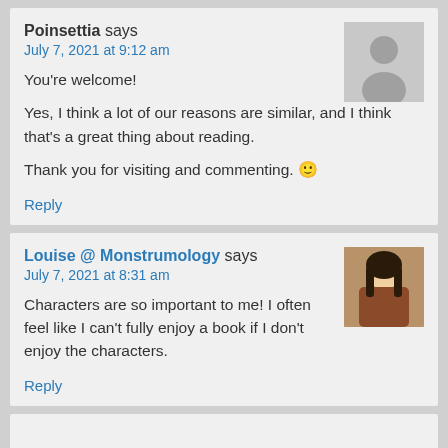Poinsettia says
July 7, 2021 at 9:12 am

You're welcome!

Yes, I think a lot of our reasons are similar, and I think that's a great thing about reading.

Thank you for visiting and commenting. 🙂

Reply
Louise @ Monstrumology says
July 7, 2021 at 8:31 am

Characters are so important to me! I often feel like I can't fully enjoy a book if I don't enjoy the characters.

Reply